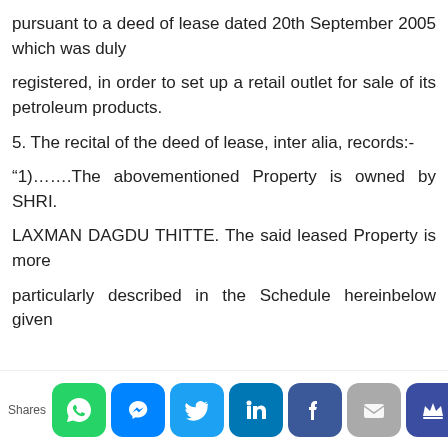pursuant to a deed of lease dated 20th September 2005 which was duly
registered, in order to set up a retail outlet for sale of its petroleum products.
5. The recital of the deed of lease, inter alia, records:-
“1)…….The abovementioned Property is owned by SHRI.
LAXMAN DAGDU THITTE. The said leased Property is more
particularly described in the Schedule hereinbelow given
[Figure (other): Social sharing bar with icons for WhatsApp, Messenger, Twitter, LinkedIn, Facebook, Email, and Crown/bookmark. Label 'Shares' on left.]